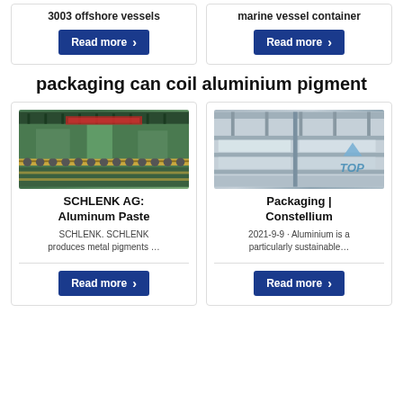3003 offshore vessels
Read more
marine vessel container
Read more
packaging can coil aluminium pigment
[Figure (photo): Industrial facility with machinery, green floor, conveyor systems]
SCHLENK AG: Aluminum Paste
SCHLENK. SCHLENK produces metal pigments …
Read more
[Figure (photo): Industrial white metal racking/shelving structure in a manufacturing facility, with a blue triangle and TOP label overlay]
Packaging | Constellium
2021-9-9 · Aluminium is a particularly sustainable…
Read more